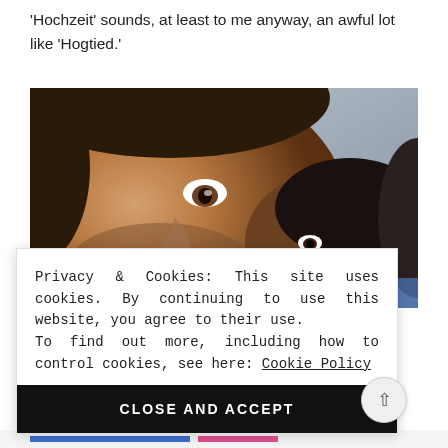'Hochzeit' sounds, at least to me anyway, an awful lot like 'Hogtied.'
[Figure (photo): Close-up photo of two people lying down, a man with stubble grinning at the camera in the foreground and a woman in the background.]
Privacy & Cookies: This site uses cookies. By continuing to use this website, you agree to their use.
To find out more, including how to control cookies, see here: Cookie Policy
CLOSE AND ACCEPT